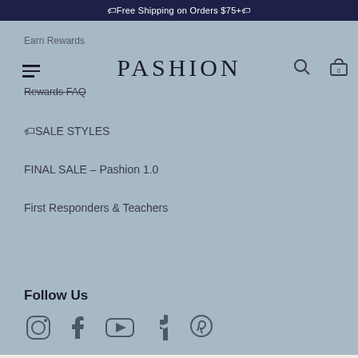🏷Free Shipping on Orders $75+🏷
PASHION
Earn Rewards
Rewards FAQ
🏷SALE STYLES
FINAL SALE – Pashion 1.0
First Responders & Teachers
Follow Us
[Figure (infographic): Social media icons: Instagram, Facebook, YouTube, TikTok, Pinterest]
© 2022 Pashion Footwear | Privacy Policy | Terms & Conditions